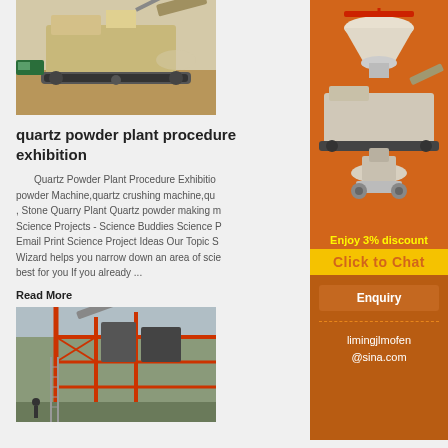[Figure (photo): Aerial view of a large mobile quarry crushing and screening machine with excavator digging in background]
quartz powder plant procedure exhibition
Quartz Powder Plant Procedure Exhibition powder Machine,quartz crushing machine,qua , Stone Quarry Plant Quartz powder making m Science Projects - Science Buddies Science P Email Print Science Project Ideas Our Topic S Wizard helps you narrow down an area of scie best for you If you already ...
Read More
[Figure (photo): Industrial plant with red steel framework structure, conveyor belts and processing equipment]
[Figure (photo): Sidebar advertisement showing various crushing and grinding machines (cone crusher, mobile crusher, vertical mill)]
Enjoy 3% discount
Click to Chat
Enquiry
limingjlmofen@sina.com